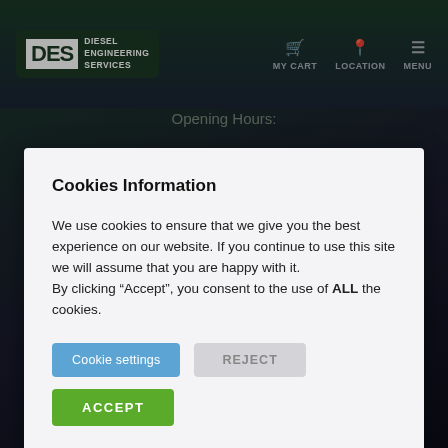[Figure (screenshot): Diesel Engineering Services website navigation bar with logo, MY CART, LOCATION, and MENU icons]
Opening Hours:
Cookies Information
We use cookies to ensure that we give you the best experience on our website. If you continue to use this site we will assume that you are happy with it. By clicking “Accept”, you consent to the use of ALL the cookies.
Cookie settings   REJECT
ACCEPT